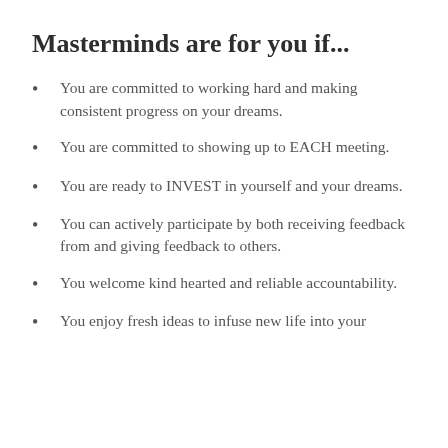Masterminds are for you if...
You are committed to working hard and making consistent progress on your dreams.
You are committed to showing up to EACH meeting.
You are ready to INVEST in yourself and your dreams.
You can actively participate by both receiving feedback from and giving feedback to others.
You welcome kind hearted and reliable accountability.
You enjoy fresh ideas to infuse new life into your